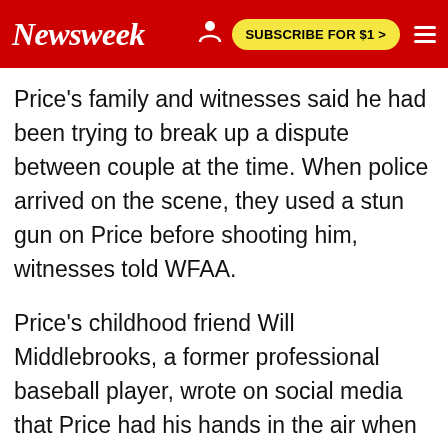Newsweek | SUBSCRIBE FOR $1 >
Price's family and witnesses said he had been trying to break up a dispute between couple at the time. When police arrived on the scene, they used a stun gun on Price before shooting him, witnesses told WFAA.
Price's childhood friend Will Middlebrooks, a former professional baseball player, wrote on social media that Price had his hands in the air when a police officer shot him in the chest and back. Middlebrooks described his friend's killing as "purely an act of racism."